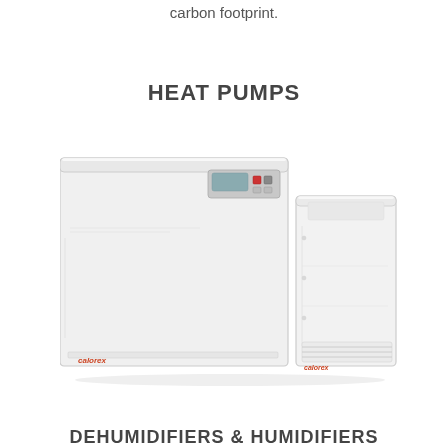carbon footprint.
HEAT PUMPS
[Figure (photo): Two white heat pump units of different sizes side by side. The larger unit is on the left (wider, lower profile) with a digital control panel on front. The smaller unit is on the right (taller, narrower) with ventilation grilles at the bottom. Both have a brand logo in orange/red text at lower left of each unit.]
DEHUMIDIFIERS & HUMIDIFIERS